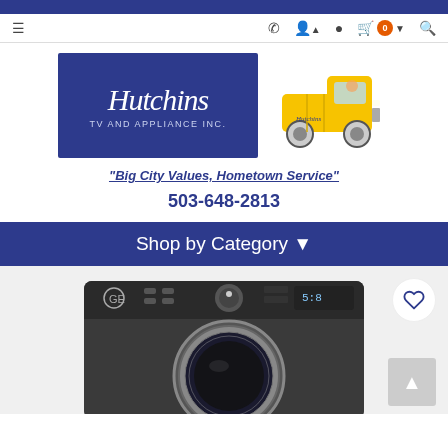Navigation bar with menu, phone, account, location, cart (0), and search icons
[Figure (logo): Hutchins TV and APPLIANCE INC. logo with blue background and script text, alongside a yellow vintage pickup truck illustration]
"Big City Values, Hometown Service"
503-648-2813
Shop by Category
[Figure (photo): GE front-load washing machine in dark color with digital display and control panel, shown partially cropped]